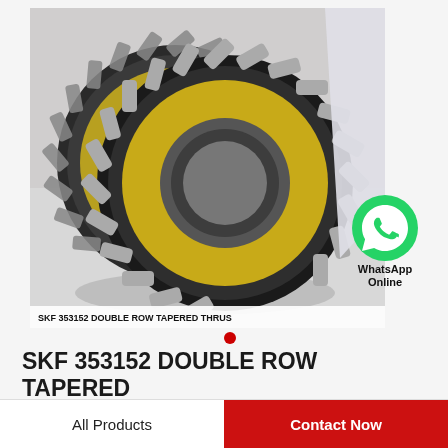[Figure (photo): SKF 353152 double row tapered thrust roller bearing, showing two metallic bearing rings with gold/brass colored roller cage and silver rollers, photographed on a light gray surface.]
SKF 353152 DOUBLE ROW TAPERED THRUST
SKF 353152 DOUBLE ROW TAPERED THRUST ROLLER BEARINGS
All Products
Contact Now